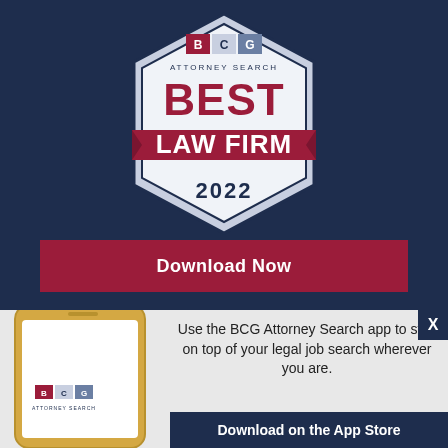[Figure (logo): BCG Attorney Search Best Law Firm 2022 badge/seal — hexagonal shield shape with dark navy border, white interior, BCG logo boxes at top, 'ATTORNEY SEARCH' text, 'BEST' in large crimson letters, a crimson ribbon banner with 'LAW FIRM' in white, and '2022' below in dark navy]
Download Now
[Figure (photo): Gold/silver smartphone showing BCG Attorney Search app on screen]
Use the BCG Attorney Search app to stay on top of your legal job search wherever you are.
Download on the App Store